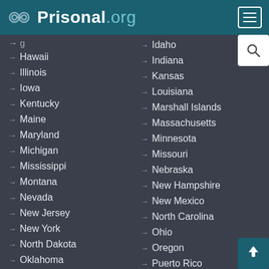Prisonal.org
Hawaii
Idaho
Illinois
Indiana
Iowa
Kansas
Kentucky
Louisiana
Maine
Marshall Islands
Maryland
Massachusetts
Michigan
Minnesota
Mississippi
Missouri
Montana
Nebraska
Nevada
New Hampshire
New Jersey
New Mexico
New York
North Carolina
North Dakota
Ohio
Oklahoma
Oregon
Pennsylvania
Puerto Rico
Rhode Island
South Carolina
South Dakota
Tennessee